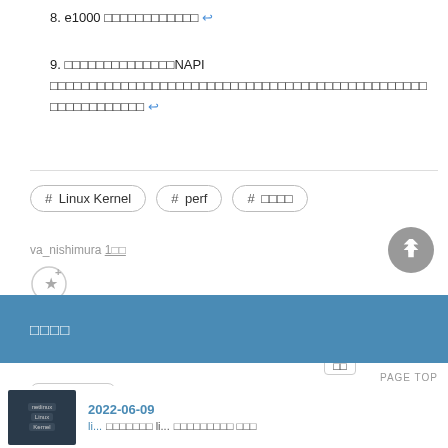8. e1000 □□□□□□□□□□□□ ←
9. □□□□□□□□□□□□□□NAPI □□□□□□□□□□□□□□□□□□□□□□□□□□□□□□□□□□□□□□□□□□□□□□□□ ←
# Linux Kernel  # perf  # □□□□
va_nishimura 1□□
5 B!ブックマーク  0 □□□□  □□□□  LINE  5  □□  Pocket
□□□□
PAGE TOP
2022-06-09